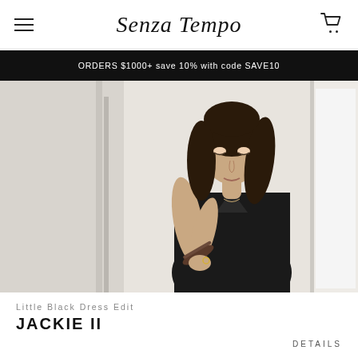Senza Tempo
ORDERS $1000+ save 10% with code SAVE10
[Figure (photo): Woman wearing a black sleeveless dress, holding sunglasses, standing in a bright interior space with white walls and doors.]
Little Black Dress Edit
JACKIE II
DETAILS